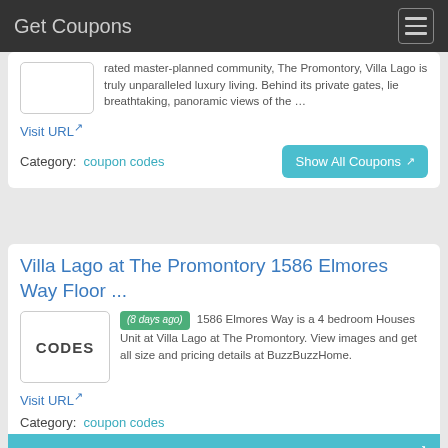Get Coupons
rated master-planned community, The Promontory, Villa Lago is truly unparalleled luxury living. Behind its private gates, lie breathtaking, panoramic views of the …
Visit URL
Category: coupon codes
Villa Lago at The Promontory 1586 Elmores Way Floor ...
(8 days ago) 1586 Elmores Way is a 4 bedroom Houses Unit at Villa Lago at The Promontory. View images and get all size and pricing details at BuzzBuzzHome.
Visit URL
Category: coupon codes